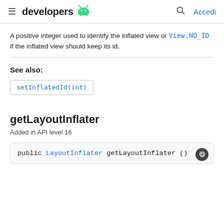developers [android logo] | [search] Accedi
A positive integer used to identify the inflated view or View.NO_ID if the inflated view should keep its id.
See also:
setInflatedId(int)
getLayoutInflater
Added in API level 16
public LayoutInflater getLayoutInflater ()